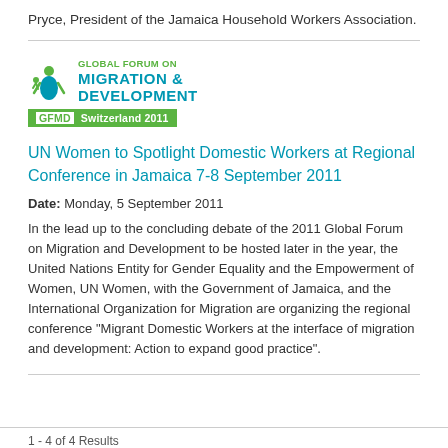Pryce, President of the Jamaica Household Workers Association.
[Figure (logo): Global Forum on Migration & Development logo with GFMD Switzerland 2011 green banner]
UN Women to Spotlight Domestic Workers at Regional Conference in Jamaica 7-8 September 2011
Date: Monday, 5 September 2011
In the lead up to the concluding debate of the 2011 Global Forum on Migration and Development to be hosted later in the year, the United Nations Entity for Gender Equality and the Empowerment of Women, UN Women, with the Government of Jamaica, and the International Organization for Migration are organizing the regional conference "Migrant Domestic Workers at the interface of migration and development: Action to expand good practice".
1 - 4 of 4 Results